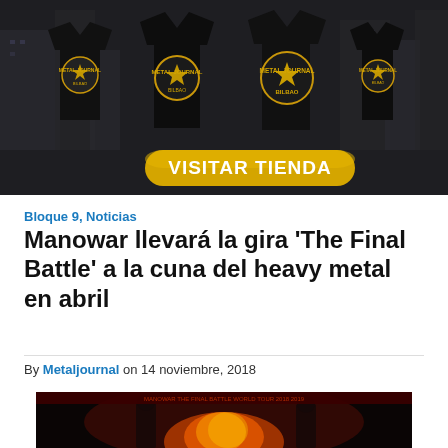[Figure (illustration): Banner advertisement for Metal Journal store showing four black t-shirts with logo designs against a dark urban background, with a gold 'VISITAR TIENDA' button]
Bloque 9, Noticias
Manowar llevará la gira 'The Final Battle' a la cuna del heavy metal en abril
By Metaljournal on 14 noviembre, 2018
[Figure (photo): Concert photo showing performers on stage with dramatic fire/flames effects, dark background with red and orange lighting]